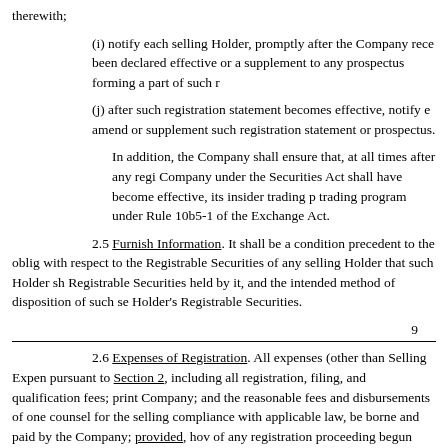therewith;
(i) notify each selling Holder, promptly after the Company rece been declared effective or a supplement to any prospectus forming a part of such r
(j) after such registration statement becomes effective, notify e amend or supplement such registration statement or prospectus.
In addition, the Company shall ensure that, at all times after any regi Company under the Securities Act shall have become effective, its insider trading p trading program under Rule 10b5-1 of the Exchange Act.
2.5 Furnish Information. It shall be a condition precedent to the oblig with respect to the Registrable Securities of any selling Holder that such Holder sh Registrable Securities held by it, and the intended method of disposition of such se Holder's Registrable Securities.
9
2.6 Expenses of Registration. All expenses (other than Selling Expen pursuant to Section 2, including all registration, filing, and qualification fees; print Company; and the reasonable fees and disbursements of one counsel for the selling compliance with applicable law, be borne and paid by the Company; provided, hov of any registration proceeding begun pursuant to Subsection 2.1 if the registration majority of the Registrable Securities to be registered (in which case all selling Ho Registrable Securities that were to be included in the withdrawn registration), unle forfeit their right to one registration pursuant to Subsections 2.1(a) or 2.1(b), as the the Holders shall have learned of a material adverse change in the condition, busin